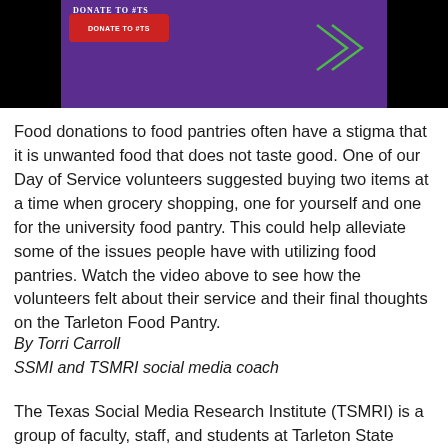[Figure (photo): Screenshot of a social media post with a purple background, a red donate button labeled 'DONATE TO #TS...' and a chevron/arrow graphic on the right side. The image has black bars on the left and right sides.]
Food donations to food pantries often have a stigma that it is unwanted food that does not taste good. One of our Day of Service volunteers suggested buying two items at a time when grocery shopping, one for yourself and one for the university food pantry. This could help alleviate some of the issues people have with utilizing food pantries. Watch the video above to see how the volunteers felt about their service and their final thoughts on the Tarleton Food Pantry.
By Torri Carroll
SSMI and TSMRI social media coach
The Texas Social Media Research Institute (TSMRI) is a group of faculty, staff, and students at Tarleton State University with a mission of conducting social media